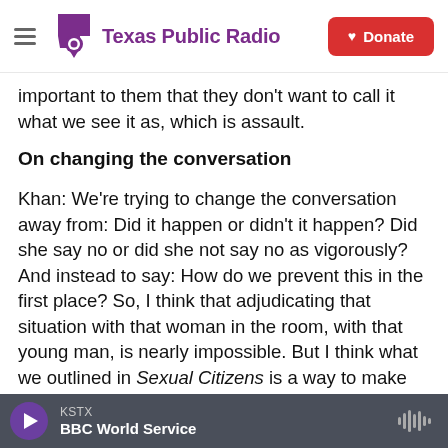Texas Public Radio | Donate
important to them that they don’t want to call it what we see it as, which is assault.
On changing the conversation
Khan: We’re trying to change the conversation away from: Did it happen or didn’t it happen? Did she say no or did she not say no as vigorously? And instead to say: How do we prevent this in the first place? So, I think that adjudicating that situation with that woman in the room, with that young man, is nearly impossible. But I think what we outlined in Sexual Citizens is a way to make sure that that
KSTX | BBC World Service